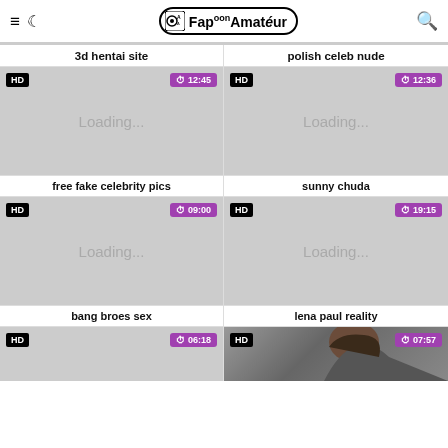Fapoon Amateur
3d hentai site
polish celeb nude
[Figure (screenshot): Video thumbnail placeholder showing Loading... with HD badge and 12:45 duration]
[Figure (screenshot): Video thumbnail placeholder showing Loading... with HD badge and 12:36 duration]
free fake celebrity pics
sunny chuda
[Figure (screenshot): Video thumbnail placeholder showing Loading... with HD badge and 09:00 duration]
[Figure (screenshot): Video thumbnail placeholder showing Loading... with HD badge and 19:15 duration]
bang broes sex
lena paul reality
[Figure (screenshot): Video thumbnail placeholder with HD badge and 06:18 duration]
[Figure (photo): Partial photo of a woman with dark hair with HD badge and 07:57 duration]